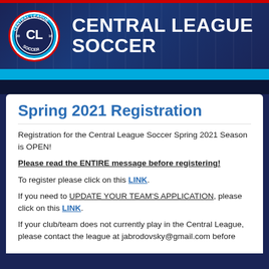[Figure (logo): Central League Soccer logo with CL initials in a circular badge]
CENTRAL LEAGUE SOCCER
Spring 2021 Registration
Registration for the Central League Soccer Spring 2021 Season is OPEN!
Please read the ENTIRE message before registering!
To register please click on this LINK.
If you need to UPDATE YOUR TEAM'S APPLICATION, please click on this LINK.
If your club/team does not currently play in the Central League, please contact the league at jabrodovsky@gmail.com before